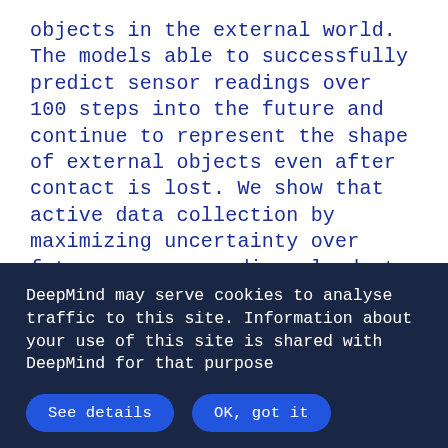objects in the external world. The models able to successfully predict sensor readings over 100 steps into the future and continue to represent the shape of external objects even after contact is lost. We show that active data collection by maximizing uncertainty over future sensor readings leads to models that show superior performance when used for control. We also collect data from a real robotic hand and show that the same models can be used to answer questions about the properties of objects in the real world.
DeepMind may serve cookies to analyse traffic to this site. Information about your use of this site is shared with DeepMind for that purpose